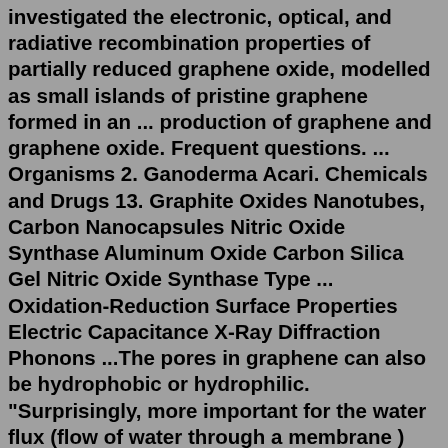investigated the electronic, optical, and radiative recombination properties of partially reduced graphene oxide, modelled as small islands of pristine graphene formed in an ... production of graphene and graphene oxide. Frequent questions. ... Organisms 2. Ganoderma Acari. Chemicals and Drugs 13. Graphite Oxides Nanotubes, Carbon Nanocapsules Nitric Oxide Synthase Aluminum Oxide Carbon Silica Gel Nitric Oxide Synthase Type ... Oxidation-Reduction Surface Properties Electric Capacitance X-Ray Diffraction Phonons ...The pores in graphene can also be hydrophobic or hydrophilic. "Surprisingly, more important for the water flux (flow of water through a membrane ) isn't the number of pores, but whether the pores are hydrophobic or hydrophilic," says Tobias Foller, UNSW Scientia PhD candidate and lead author of the study. "That's very unexpected as the.Reduced graphene oxide still holds useful properties such as controllable functionality, high electric and thermal conductance the availability of initial material, cheap and scalable preparation